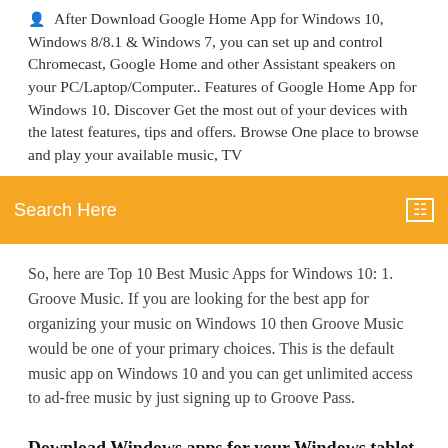After Download Google Home App for Windows 10, Windows 8/8.1 & Windows 7, you can set up and control Chromecast, Google Home and other Assistant speakers on your PC/Laptop/Computer.. Features of Google Home App for Windows 10. Discover Get the most out of your devices with the latest features, tips and offers. Browse One place to browse and play your available music, TV
[Figure (screenshot): Orange/yellow search bar with 'Search Here' text in white and a small search icon on the right]
So, here are Top 10 Best Music Apps for Windows 10: 1. Groove Music. If you are looking for the best app for organizing your music on Windows 10 then Groove Music would be one of your primary choices. This is the default music app on Windows 10 and you can get unlimited access to ad-free music by just signing up to Groove Pass.
Download Windows apps for your Windows tablet or computer. Browse thousands of free and paid apps by category, read user reviews, and compare ratings.